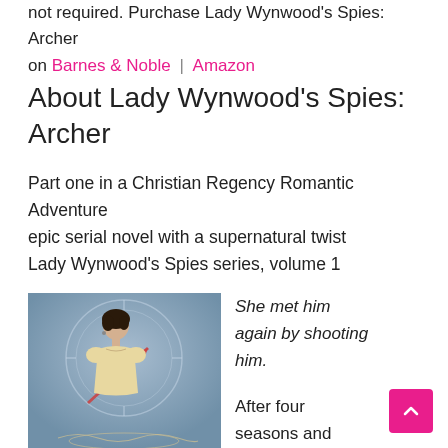not required. Purchase Lady Wynwood's Spies: Archer on Barnes & Noble | Amazon
About Lady Wynwood's Spies: Archer
Part one in a Christian Regency Romantic Adventure epic serial novel with a supernatural twist
Lady Wynwood's Spies series, volume 1
[Figure (photo): Book cover of Lady Wynwood's Spies: Archer showing a woman in a Regency-era dress with an arrow, against a decorative circular background]
She met him again by shooting him.
After four seasons and unmarried